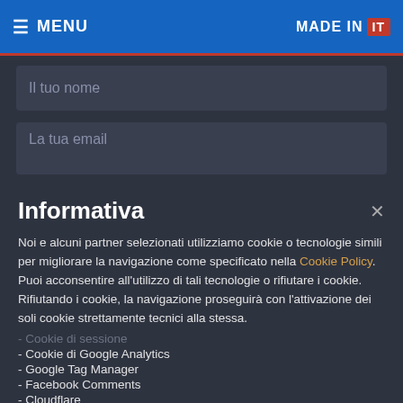≡ MENU   MADE IN IT
Il tuo nome
La tua email
Informativa
Noi e alcuni partner selezionati utilizziamo cookie o tecnologie simili per migliorare la navigazione come specificato nella Cookie Policy. Puoi acconsentire all'utilizzo di tali tecnologie o rifiutare i cookie. Rifiutando i cookie, la navigazione proseguirà con l'attivazione dei soli cookie strettamente tecnici alla stessa.
- Cookie di sessione
- Cookie di Google Analytics
- Google Tag Manager
- Facebook Comments
- Cloudflare
ACCETTO